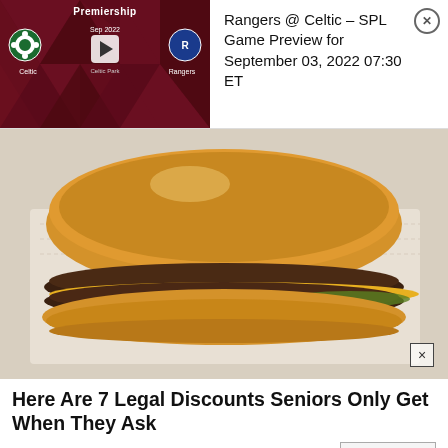[Figure (screenshot): Sports game preview widget showing Celtic vs Rangers SPL match at Celtic Park on Sep 2022 with play button]
Rangers @ Celtic – SPL Game Preview for September 03, 2022 07:30 ET
[Figure (photo): Advertisement photo of a double cheeseburger with yellow cheese and pickles on white wrapper paper]
Here Are 7 Legal Discounts Seniors Only Get When They Ask
Senior Discounts By National P...
Learn More